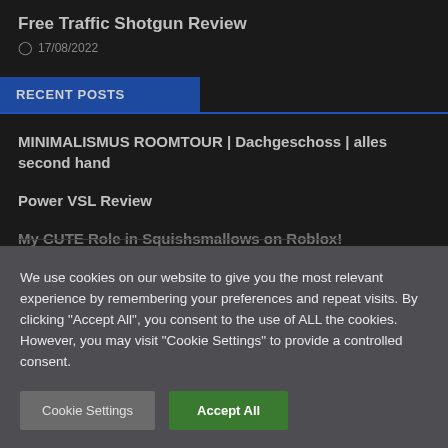Free Traffic Shotgun Review
17/08/2022
RECENT POSTS
MINIMALISMUS ROOMTOUR | Dachgeschoss | alles second hand
Power VSL Review
My CUTE Role in Squishsmallows on Roblox!
We use cookies on our website to give you the most relevant experience by remembering your preferences and repeat visits. By clicking "Accept All", you consent to the use of ALL the cookies. However, you may visit "Cookie Settings" to provide a controlled consent.